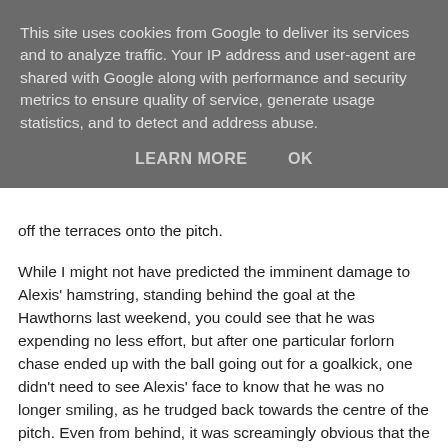This site uses cookies from Google to deliver its services and to analyze traffic. Your IP address and user-agent are shared with Google along with performance and security metrics to ensure quality of service, generate usage statistics, and to detect and address abuse.
LEARN MORE   OK
off the terraces onto the pitch.
While I might not have predicted the imminent damage to Alexis' hamstring, standing behind the goal at the Hawthorns last weekend, you could see that he was expending no less effort, but after one particular forlorn chase ended up with the ball going out for a goalkick, one didn't need to see Alexis' face to know that he was no longer smiling, as he trudged back towards the centre of the pitch. Even from behind, it was screamingly obvious that the customarily puffed out chest was deflated and his entire body language bellowed out that while he might never admit it, so long as he was required, the poor bugger was in desperate need of a break.